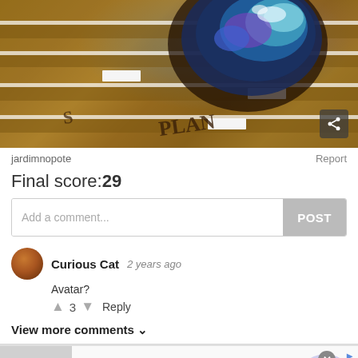[Figure (photo): Photo of a wooden tray with a decorative bowl containing blue/purple resin art, with text branded into the wood]
jardimnopote
Report
Final score:29
Add a comment...
POST
Curious Cat  2 years ago
Avatar?
↑ 3 ↓ Reply
View more comments ∨
[Figure (photo): Advertisement for Official NFL Gear showing NFL jerseys with link to www.nflshop.com]